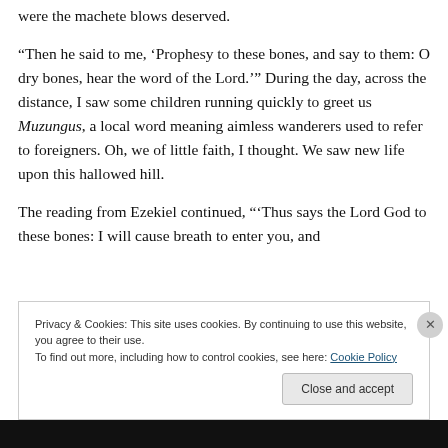were the machete blows deserved.
“Then he said to me, ‘Prophesy to these bones, and say to them: O dry bones, hear the word of the Lord.’” During the day, across the distance, I saw some children running quickly to greet us Muzungus, a local word meaning aimless wanderers used to refer to foreigners. Oh, we of little faith, I thought. We saw new life upon this hallowed hill.
The reading from Ezekiel continued, “‘Thus says the Lord God to these bones: I will cause breath to enter you, and
Privacy & Cookies: This site uses cookies. By continuing to use this website, you agree to their use.
To find out more, including how to control cookies, see here: Cookie Policy